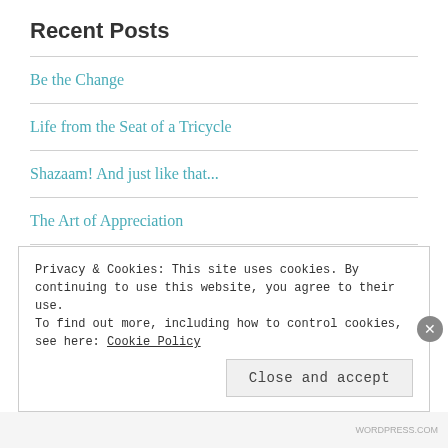Recent Posts
Be the Change
Life from the Seat of a Tricycle
Shazaam! And just like that...
The Art of Appreciation
The Sky is the Limit...Unless You're an Astronaut
This Little Light of Mine
Privacy & Cookies: This site uses cookies. By continuing to use this website, you agree to their use. To find out more, including how to control cookies, see here: Cookie Policy
Close and accept